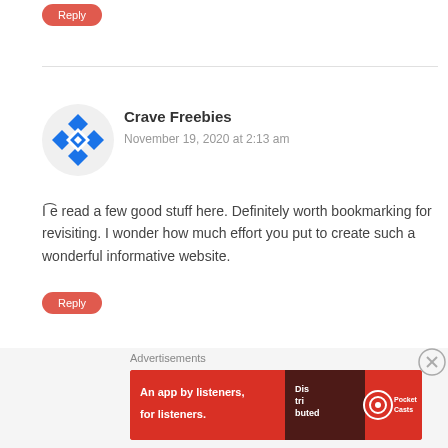Reply
Crave Freebies
November 19, 2020 at 2:13 am
Iı̈e read a few good stuff here. Definitely worth bookmarking for revisiting. I wonder how much effort you put to create such a wonderful informative website.
Reply
Juan Mohorovich
November 20, 2020 at 7:52 am
very nice put up, i actually love this website, carry on it
Reply
[Figure (screenshot): Pocket Casts advertisement banner: red background, text 'An app by listeners, for listeners.' with phone image and Pocket Casts logo]
Advertisements